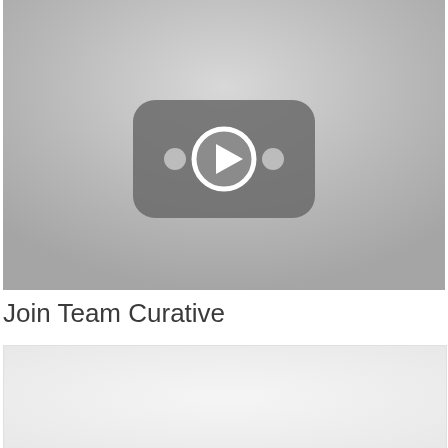[Figure (screenshot): Video thumbnail showing a YouTube-style play button icon (rounded rectangle with play triangle and two dots) on a light gray gradient background]
Join Team Curative
[Figure (screenshot): Second video thumbnail placeholder with light gray/white background, partially visible]